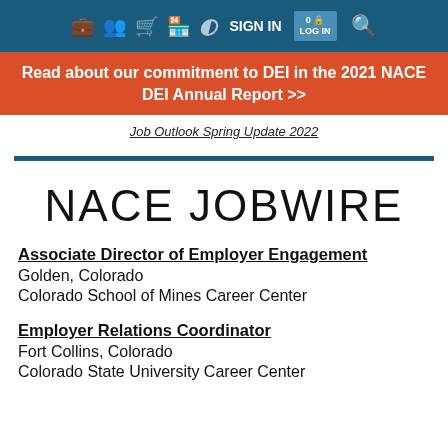[Figure (screenshot): Navigation bar with icons (briefcase, people, cart, store, circle logo), SIGN IN text, highlighted box with text, and search icon on dark teal background]
Read about our commitment to DEI in the 2021 NACE DEI Annual Report >>
Job Outlook Spring Update 2022
NACE JOBWIRE
Associate Director of Employer Engagement
Golden, Colorado
Colorado School of Mines Career Center
Employer Relations Coordinator
Fort Collins, Colorado
Colorado State University Career Center